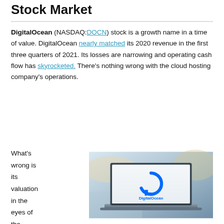Stock Market
DigitalOcean (NASDAQ:DOCN) stock is a growth name in a time of value. DigitalOcean nearly matched its 2020 revenue in the first three quarters of 2021. Its losses are narrowing and operating cash flow has skyrocketed. There's nothing wrong with the cloud hosting company's operations.
What's wrong is its valuation in the eyes of the
[Figure (photo): Photo of a laptop displaying the DigitalOcean logo (blue circular arrow icon with cube pixels and 'DigitalOcean' text) on screen, placed on a desk with blurred background.]